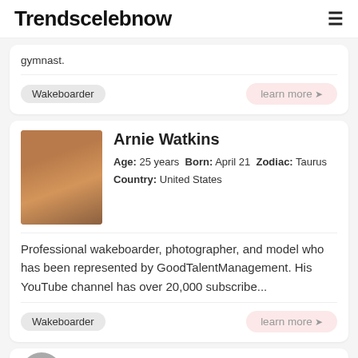Trendscelebnow
gymnast.
Wakeboarder
learn more ➤
[Figure (photo): Profile photo of Arnie Watkins, a young man with curly reddish-brown hair, smiling, shirtless, against a warm background.]
Arnie Watkins
Age: 25 years Born: April 21 Zodiac: Taurus Country: United States
Professional wakeboarder, photographer, and model who has been represented by GoodTalentManagement. His YouTube channel has over 20,000 subscribe...
Wakeboarder
learn more ➤
[Figure (photo): Partial view of another person's circular profile photo at the bottom of the page (cut off).]